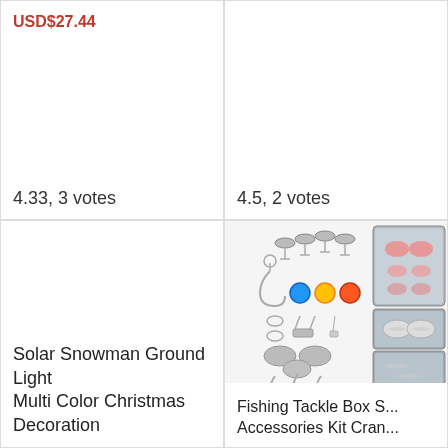USD$27.44
4.33, 3 votes
4.5, 2 votes
[Figure (photo): Empty white product card area (top-left, no image visible)]
[Figure (photo): Fishing tackle box set showing various fishing accessories including swivels, hooks, sinkers, beads, and organized tackle box components]
Solar Snowman Ground Light Multi Color Christmas Decoration
Fishing Tackle Box S... Accessories Kit Cran...